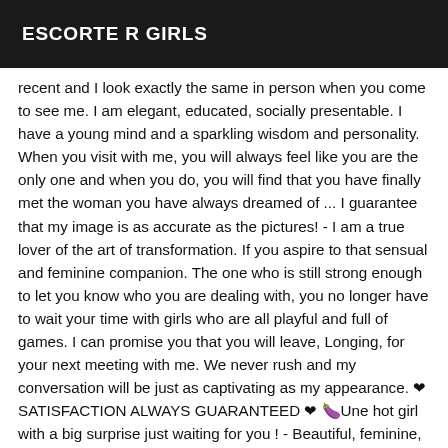ESCORTE R GIRLS
recent and I look exactly the same in person when you come to see me. I am elegant, educated, socially presentable. I have a young mind and a sparkling wisdom and personality. When you visit with me, you will always feel like you are the only one and when you do, you will find that you have finally met the woman you have always dreamed of ... I guarantee that my image is as accurate as the pictures! - I am a true lover of the art of transformation. If you aspire to that sensual and feminine companion. The one who is still strong enough to let you know who you are dealing with, you no longer have to wait your time with girls who are all playful and full of games. I can promise you that you will leave, Longing, for your next meeting with me. We never rush and my conversation will be just as captivating as my appearance. ❤ SATISFACTION ALWAYS GUARANTEED ❤ 🍆Une hot girl with a big surprise just waiting for you ! - Beautiful, feminine, very horny and